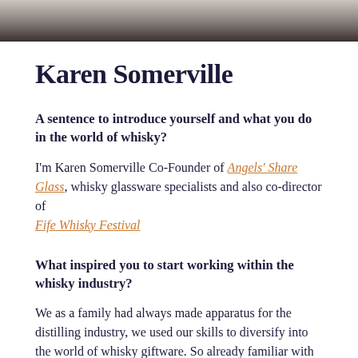[Figure (photo): Black and white partial photo at top of page, cropped showing lower portion]
Karen Somerville
A sentence to introduce yourself and what you do in the world of whisky?
I'm Karen Somerville Co-Founder of Angels' Share Glass, whisky glassware specialists and also co-director of Fife Whisky Festival
What inspired you to start working within the whisky industry?
We as a family had always made apparatus for the distilling industry, we used our skills to diversify into the world of whisky giftware. So already familiar with whisky making it was time to get passionate...